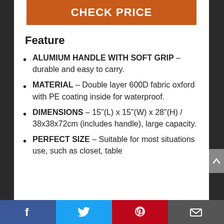CHECK PRICE
Feature
ALUMIUM HANDLE WITH SOFT GRIP – durable and easy to carry.
MATERIAL – Double layer 600D fabric oxford with PE coating inside for waterproof.
DIMENSIONS – 15"(L) x 15"(W) x 28"(H) / 38x38x72cm (includes handle), large capacity.
PERFECT SIZE – Suitable for most situations use, such as closet, table